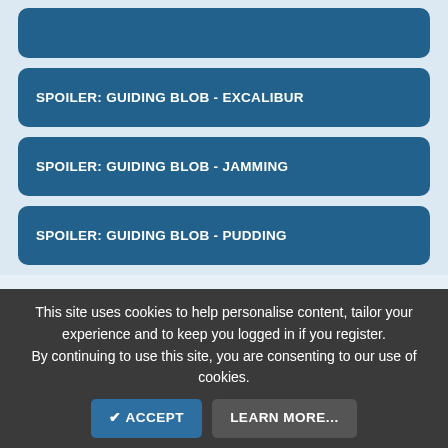SPOILER: GUIDING BLOB - EXCALIBUR
SPOILER: GUIDING BLOB - JAMMING
SPOILER: GUIDING BLOB - PUDDING
PresaDePrata, CoryH, Snakes and 2 others
Snakes
Villager
This site uses cookies to help personalise content, tailor your experience and to keep you logged in if you register.
By continuing to use this site, you are consenting to our use of cookies.
✔ ACCEPT
LEARN MORE...